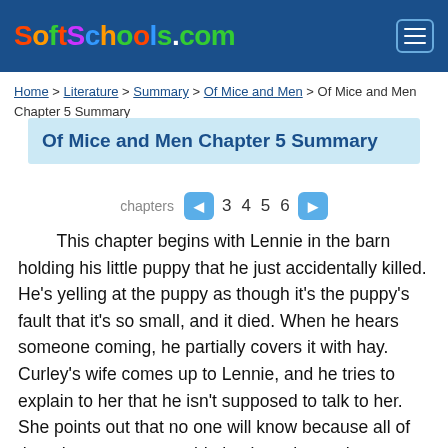SoftSchools.com
Home > Literature > Summary > Of Mice and Men > Of Mice and Men Chapter 5 Summary
Of Mice and Men Chapter 5 Summary
chapters  3  4  5  6
This chapter begins with Lennie in the barn holding his little puppy that he just accidentally killed. He's yelling at the puppy as though it's the puppy's fault that it's so small, and it died. When he hears someone coming, he partially covers it with hay. Curley's wife comes up to Lennie, and he tries to explain to her that he isn't supposed to talk to her. She points out that no one will know because all of the other men are outside having a horseshoe tournament. Then she notices the pile of hay and